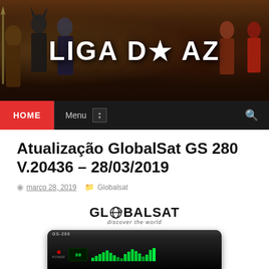[Figure (photo): Liga do AZ website banner with superhero figures and bold white title text 'LIGA DO AZ' with a star]
[Figure (screenshot): Navigation bar with red HOME button, Menu dropdown, and search icon]
Atualização GlobalSat GS 280 V.20436 – 28/03/2019
março 28, 2019   Globalsat
[Figure (photo): GlobalSat logo and GlobalSat GS 280 satellite receiver device image]